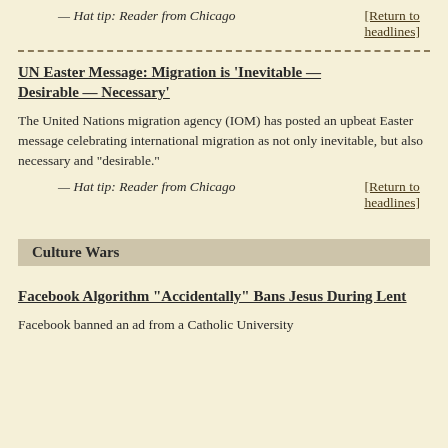— Hat tip: Reader from Chicago
[Return to headlines]
UN Easter Message: Migration is 'Inevitable — Desirable — Necessary'
The United Nations migration agency (IOM) has posted an upbeat Easter message celebrating international migration as not only inevitable, but also necessary and "desirable."
— Hat tip: Reader from Chicago
[Return to headlines]
Culture Wars
Facebook Algorithm "Accidentally" Bans Jesus During Lent
Facebook banned an ad from a Catholic University